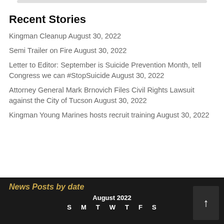Recent Stories
Kingman Cleanup August 30, 2022
Semi Trailer on Fire August 30, 2022
Letter to Editor: September is Suicide Prevention Month, tell Congress we can #StopSuicide August 30, 2022
Attorney General Mark Brnovich Files Civil Rights Lawsuit against the City of Tucson August 30, 2022
Kingman Young Marines hosts recruit training August 30, 2022
News Posts by date
August 2022
S M T W T F S